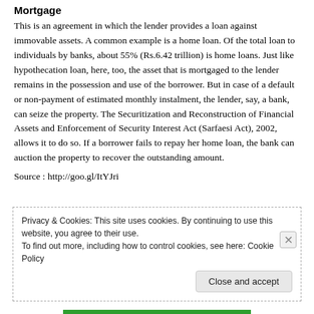Mortgage
This is an agreement in which the lender provides a loan against immovable assets. A common example is a home loan. Of the total loan to individuals by banks, about 55% (Rs.6.42 trillion) is home loans. Just like hypothecation loan, here, too, the asset that is mortgaged to the lender remains in the possession and use of the borrower. But in case of a default or non-payment of estimated monthly instalment, the lender, say, a bank, can seize the property. The Securitization and Reconstruction of Financial Assets and Enforcement of Security Interest Act (Sarfaesi Act), 2002, allows it to do so. If a borrower fails to repay her home loan, the bank can auction the property to recover the outstanding amount.
Source : http://goo.gl/ItYJri
Privacy & Cookies: This site uses cookies. By continuing to use this website, you agree to their use.
To find out more, including how to control cookies, see here: Cookie Policy